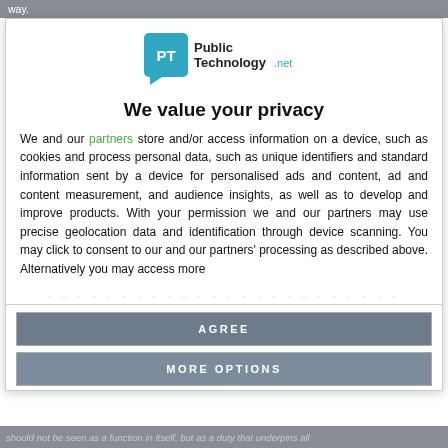way.
[Figure (logo): Public Technology.net logo — teal speech bubble with 'PT' and text 'Public Technology.net']
We value your privacy
We and our partners store and/or access information on a device, such as cookies and process personal data, such as unique identifiers and standard information sent by a device for personalised ads and content, ad and content measurement, and audience insights, as well as to develop and improve products. With your permission we and our partners may use precise geolocation data and identification through device scanning. You may click to consent to our and our partners' processing as described above. Alternatively you may access more ...
AGREE
MORE OPTIONS
should not be seen as a function in itself, but as a duty that underpins all